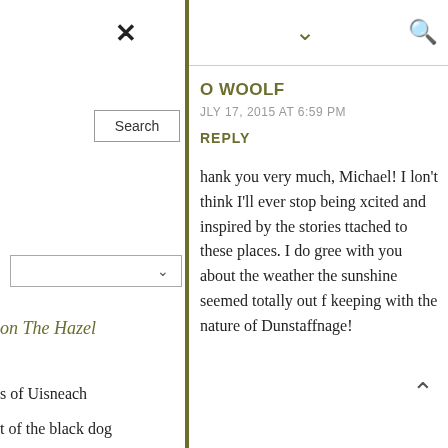[Figure (screenshot): Close (X) icon button]
[Figure (screenshot): Dropdown chevron icon]
[Figure (screenshot): Search (magnifying glass) icon]
[Figure (screenshot): Search input box with label 'Search']
[Figure (screenshot): Dropdown select box with chevron]
on The Hazel
s of Uisneach
t of the black dog
O WOOLF
JLY 17, 2015 AT 6:59 PM
REPLY
hank you very much, Michael! I lon't think I'll ever stop being xcited and inspired by the stories ttached to these places. I do gree with you about the weather the sunshine seemed totally out f keeping with the nature of Dunstaffnage!